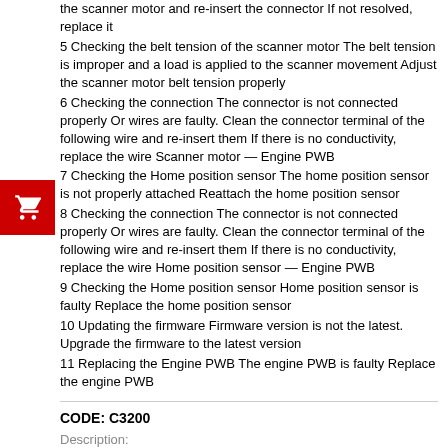the scanner motor and re-insert the connector If not resolved, replace it
5 Checking the belt tension of the scanner motor The belt tension is improper and a load is applied to the scanner movement Adjust the scanner motor belt tension properly
6 Checking the connection The connector is not connected properly Or wires are faulty. Clean the connector terminal of the following wire and re-insert them If there is no conductivity, replace the wire Scanner motor — Engine PWB
7 Checking the Home position sensor The home position sensor is not properly attached Reattach the home position sensor
8 Checking the connection The connector is not connected properly Or wires are faulty. Clean the connector terminal of the following wire and re-insert them If there is no conductivity, replace the wire Home position sensor — Engine PWB
9 Checking the Home position sensor Home position sensor is faulty Replace the home position sensor
10 Updating the firmware Firmware version is not the latest. Upgrade the firmware to the latest version
11 Replacing the Engine PWB The engine PWB is faulty Replace the engine PWB
CODE: C3200
Description:
LED lamp startup error